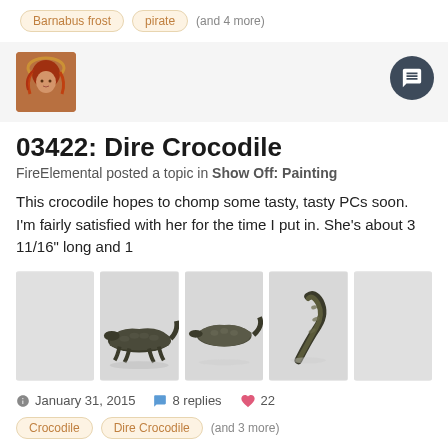Barnabus frost   pirate   (and 4 more)
[Figure (photo): Avatar image of a red-haired figure with halo, fantasy art style]
03422: Dire Crocodile
FireElemental posted a topic in Show Off: Painting
This crocodile hopes to chomp some tasty, tasty PCs soon. I'm fairly satisfied with her for the time I put in. She's about 3 11/16" long and 1
[Figure (photo): Light gray placeholder thumbnail]
[Figure (photo): Painted miniature dire crocodile, side view from front-left]
[Figure (photo): Painted miniature dire crocodile, side view from above]
[Figure (photo): Painted miniature dire crocodile, tail view]
[Figure (photo): Light gray placeholder thumbnail]
January 31, 2015   8 replies   22
Crocodile   Dire Crocodile   (and 3 more)
[Figure (photo): Avatar image of a white bear/polar bear miniature on blue base]